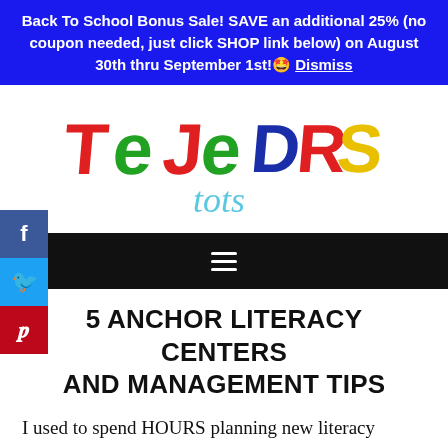Back To School Bonus Sale! SAVE an additional 25% (no coupon needed, just click SHOP link below) on August 30th thru September 1st! 🤩 Dismiss
[Figure (logo): TeJeDRS tots colorful logo with letters in red, green, blue, yellow and 'tots' in light blue cursive]
[Figure (screenshot): Dark navigation bar with hamburger menu icon, social media sidebar buttons for Facebook, Twitter, Pinterest on the left]
5 ANCHOR LITERACY CENTERS AND MANAGEMENT TIPS
I used to spend HOURS planning new literacy centers each week: making, laminating,